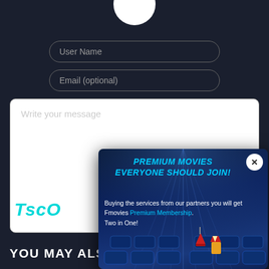[Figure (screenshot): White circular avatar/profile picture at the top center of a dark form page]
User Name
Email (optional)
Write your message
TsCo (partially visible logo/text)
YOU MAY ALSO L (truncated)
[Figure (screenshot): Popup overlay on a dark cinema background. Title: PREMIUM MOVIES EVERYONE SHOULD JOIN! Body text: Buying the services from our partners you will get Fmovies Premium Membership. Two in One! Close button (X) in top right. Cinema seats visible at bottom.]